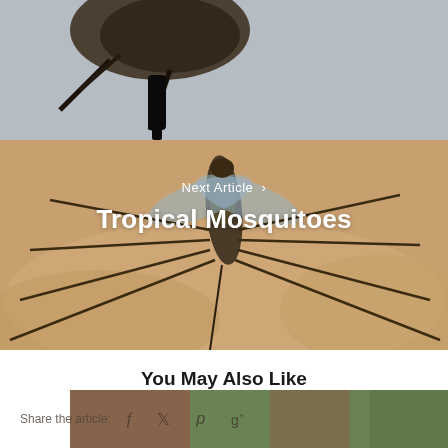[Figure (photo): Top portion of a close-up photo showing an insect or tripod-like object against a grey background, partially cropped]
[Figure (photo): Close-up macro photo of a mosquito on human skin, with long thin legs spread out, against a warm brown/tan background]
Next Article >
Tropical Mosquitoes
You May Also Like
[Figure (photo): Bottom strip showing a green/nature background photo with a share bar overlay]
Share the article: